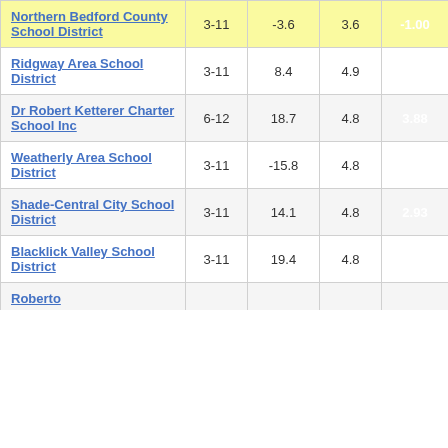| School District | Grades | Col3 | Col4 | Score |
| --- | --- | --- | --- | --- |
| Northern Bedford County School District | 3-11 | -3.6 | 3.6 | -1.00 |
| Ridgway Area School District | 3-11 | 8.4 | 4.9 | 1.74 |
| Dr Robert Ketterer Charter School Inc | 6-12 | 18.7 | 4.8 | 3.88 |
| Weatherly Area School District | 3-11 | -15.8 | 4.8 | -3.28 |
| Shade-Central City School District | 3-11 | 14.1 | 4.8 | 2.93 |
| Blacklick Valley School District | 3-11 | 19.4 | 4.8 | 4.06 |
| Roberto |  |  |  |  |